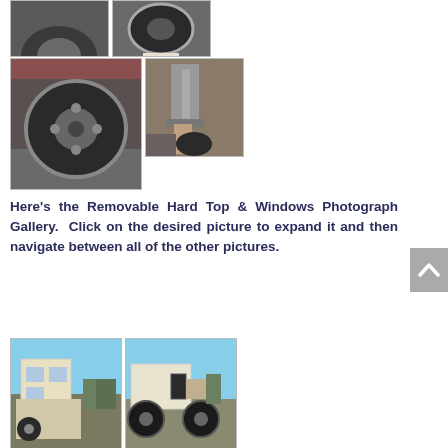[Figure (photo): Close-up photo of a tire on gravel ground (partial, top cropped)]
[Figure (photo): Close-up photo of a tire/wheel on gravel from above]
[Figure (photo): Close-up photo of a spare tire/wheel viewed from behind a vehicle]
[Figure (photo): Close-up photo of a hand holding a digital measuring tool against a tire tread]
Here's the Removable Hard Top & Windows Photograph Gallery.  Click on the desired picture to expand it and then navigate between all of the other pictures.
[Figure (photo): Photo of a white Jeep viewed from the rear in a parking lot with trees]
[Figure (photo): Photo of a white Jeep viewed from the rear-side showing large tires]